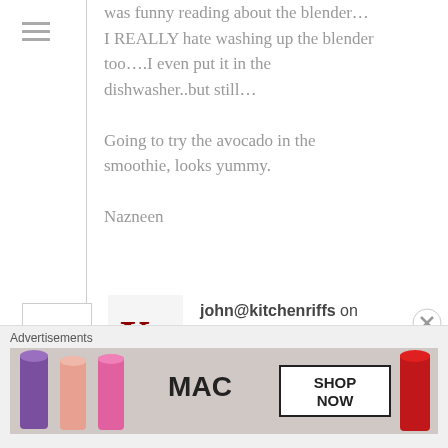was funny reading about the blender… I REALLY hate washing up the blender too….I even put it in the dishwasher..but still…

Going to try the avocado in the smoothie, looks yummy.

Nazneen
33
KR
john@kitchenriffs on March 5, 2013 at 8:21 PM   Reply  ★ Like
Great pictures! And super recipe. Who doesn't love a smoothie? Wonderful post – thanks so much.
Advertisements
[Figure (photo): MAC cosmetics advertisement showing lipsticks in purple, peach, pink, and red colors with MAC logo and SHOP NOW button]